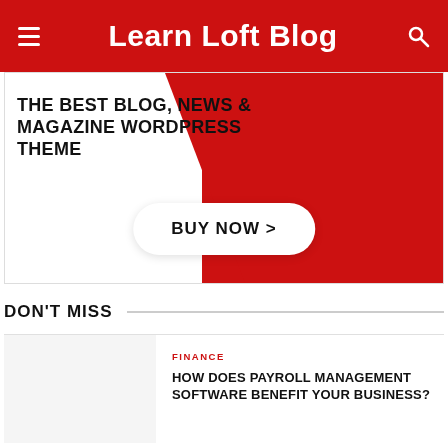Learn Loft Blog
[Figure (illustration): Promotional banner with red background, text 'THE BEST BLOG, NEWS & MAGAZINE WORDPRESS THEME', and a white pill-shaped button reading 'BUY NOW >']
DON'T MISS
FINANCE
HOW DOES PAYROLL MANAGEMENT SOFTWARE BENEFIT YOUR BUSINESS?